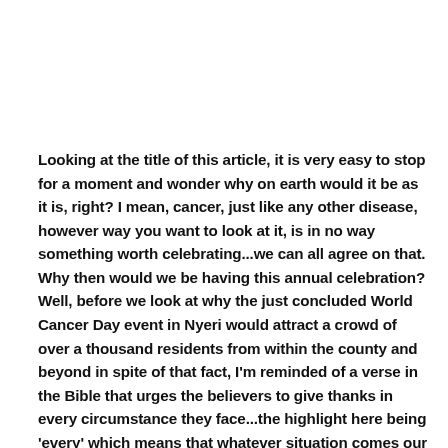Looking at the title of this article, it is very easy to stop for a moment and wonder why on earth would it be as it is, right? I mean, cancer, just like any other disease, however way you want to look at it, is in no way something worth celebrating...we can all agree on that. Why then would we be having this annual celebration? Well, before we look at why the just concluded World Cancer Day event in Nyeri would attract a crowd of over a thousand residents from within the county and beyond in spite of that fact, I'm reminded of a verse in the Bible that urges the believers to give thanks in every circumstance they face...the highlight here being 'every' which means that whatever situation comes our way; whether good